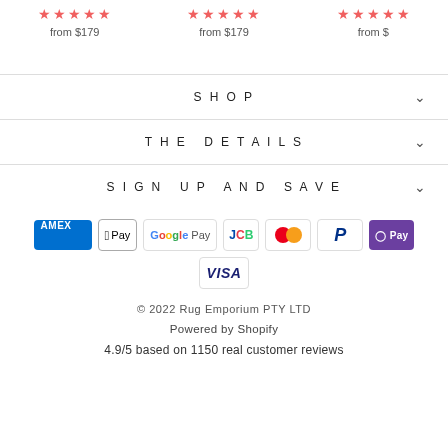[Figure (screenshot): Top strip showing star ratings and prices for products: left column shows partial stars and 'from $179', center column shows 5 red stars and 'from $179', right column shows partial red stars and 'from $']
SHOP
THE DETAILS
SIGN UP AND SAVE
[Figure (infographic): Payment method icons: American Express, Apple Pay, Google Pay, JCB, Mastercard, PayPal, OPay, Visa]
© 2022 Rug Emporium PTY LTD
Powered by Shopify
4.9/5 based on 1150 real customer reviews